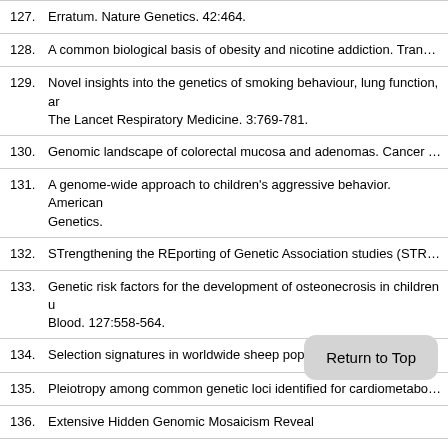127. Erratum. Nature Genetics. 42:464.
128. A common biological basis of obesity and nicotine addiction. Translatio
129. Novel insights into the genetics of smoking behaviour, lung function, and... The Lancet Respiratory Medicine. 3:769-781.
130. Genomic landscape of colorectal mucosa and adenomas. Cancer Prev
131. A genome-wide approach to children's aggressive behavior. American... Genetics.
132. STrengthening the REporting of Genetic Association studies (STREGA
133. Genetic risk factors for the development of osteonecrosis in children u... Blood. 127:558-564.
134. Selection signatures in worldwide sheep populations. PLoS One. 9.
135. Pleiotropy among common genetic loci identified for cardiometabolic di
136. Extensive Hidden Genomic Mosaicism Reveal... e. Am
137. Role of CDKN2C copy number in sporadic medullary thyroid carcinoma